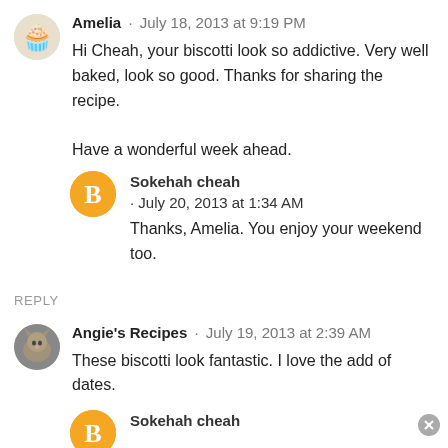Amelia · July 18, 2013 at 9:19 PM
Hi Cheah, your biscotti look so addictive. Very well baked, look so good. Thanks for sharing the recipe.

Have a wonderful week ahead.
Sokehah cheah · July 20, 2013 at 1:34 AM
Thanks, Amelia. You enjoy your weekend too.
REPLY
Angie's Recipes · July 19, 2013 at 2:39 AM
These biscotti look fantastic. I love the add of dates.
Sokehah cheah